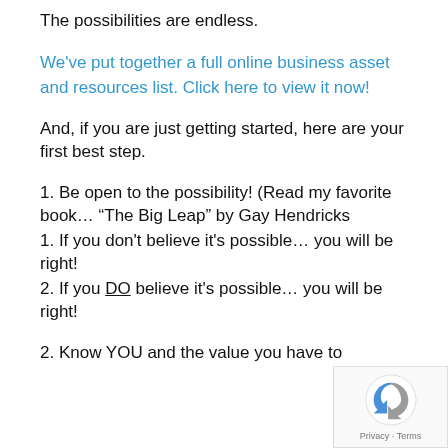The possibilities are endless.
We've put together a full online business asset and resources list. Click here to view it now!
And, if you are just getting started, here are your first best step.
1. Be open to the possibility! (Read my favorite book… “The Big Leap” by Gay Hendricks
1. If you don't believe it's possible… you will be right!
2. If you DO believe it's possible… you will be right!
2. Know YOU and the value you have to